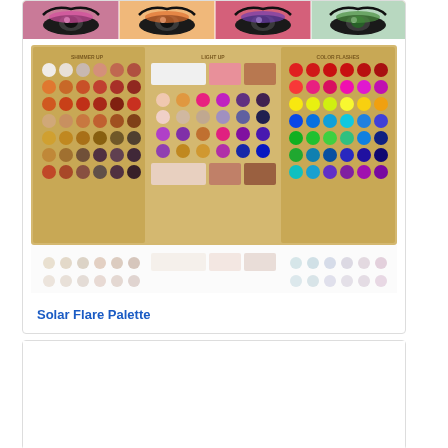[Figure (photo): Four close-up eye makeup looks showing different colored eyeshadow applications]
[Figure (photo): Solar Flare makeup palette open showing three panels: Shimmer Up, Light Up, and Color Flashes sections with numerous colorful eyeshadow pans]
Solar Flare Palette
[Figure (photo): Second product card area, mostly blank white space]